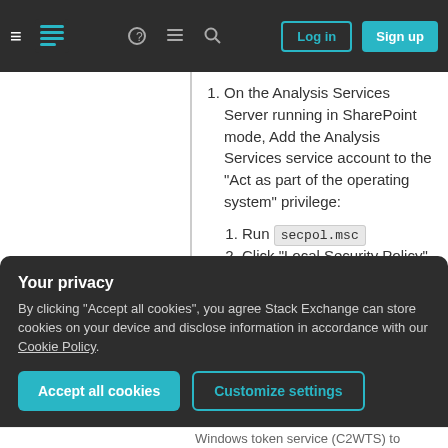Stack Exchange navigation bar with Log in and Sign up buttons
On the Analysis Services Server running in SharePoint mode, Add the Analysis Services service account to the "Act as part of the operating system" privilege:
Run secpol.msc
Click "Local Security Policy", then click "Local policies", and then click "User rights assignment".
Your privacy
By clicking "Accept all cookies", you agree Stack Exchange can store cookies on your device and disclose information in accordance with our Cookie Policy.
Windows token service (C2WTS) to